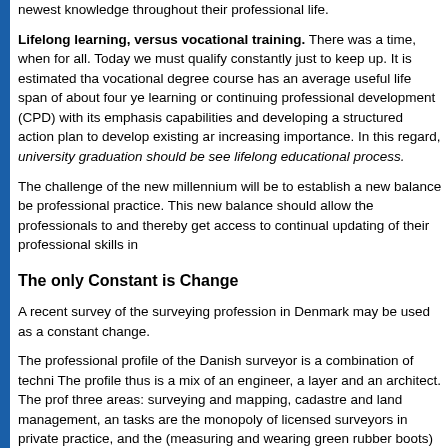newest knowledge throughout their professional life.
Lifelong learning, versus vocational training. There was a time, when for all. Today we must qualify constantly just to keep up. It is estimated tha vocational degree course has an average useful life span of about four ye learning or continuing professional development (CPD) with its emphasis capabilities and developing a structured action plan to develop existing ar increasing importance. In this regard, university graduation should be see lifelong educational process.
The challenge of the new millennium will be to establish a new balance be professional practice. This new balance should allow the professionals to and thereby get access to continual updating of their professional skills in
The only Constant is Change
A recent survey of the surveying profession in Denmark may be used as a constant change.
The professional profile of the Danish surveyor is a combination of techni The profile thus is a mix of an engineer, a layer and an architect. The prof three areas: surveying and mapping, cadastre and land management, an tasks are the monopoly of licensed surveyors in private practice, and the (measuring and wearing green rubber boots) has traditionally epitomised the structure of the surveying profession and the profile of the Danish sur down through the latest two or three decades.
Since the late 1960´s the Danish Association of Chartered Surveyors has surveying profession every 10 years starting in 1967. The changes taken